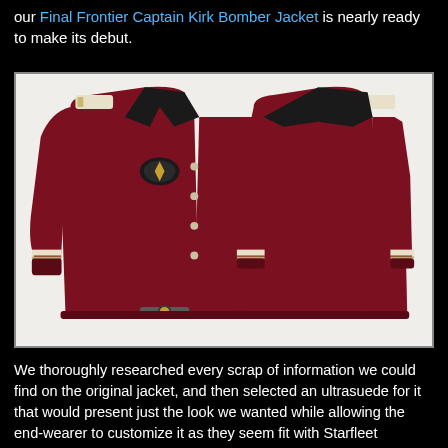our Final Frontier Captain Kirk Bomber Jacket is nearly ready to make its debut.
[Figure (photo): Front and back view of a dark red/maroon bomber jacket with cream shoulder stripes, Starfleet insignia patch on the front, leather trim on cuffs and shoulders, and a belt buckle clasp at the bottom front.]
We thoroughly researched every scrap of information we could find on the original jacket, and then selected an ultrasuede for it that would present just the look we wanted while allowing the end-wearer to customize it as they seem fit with Starfleet accouterments. This